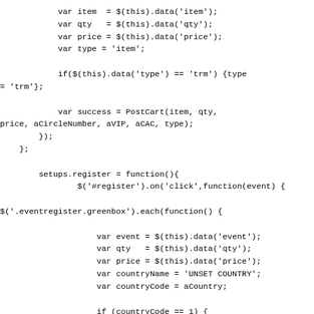var item  = $(this).data('item');
            var qty   = $(this).data('qty');
            var price = $(this).data('price');
            var type = 'item';

            if($(this).data('type') == 'trm') {type = 'trm'};

            var success = PostCart(item, qty,
price, aCircleNumber, aVIP, aCAC, type);
        });
    };

        setups.register = function(){
                $('#register').on('click',function(event) {

$('.eventregister.greenbox').each(function() {

                    var event = $(this).data('event');
                    var qty   = $(this).data('qty');
                    var price = $(this).data('price');
                    var countryName = 'UNSET COUNTRY';
                    var countryCode = aCountry;

                    if (countryCode == 1) {
                        countryName = 'US';
                    } else if (countryCode == 2) {
                        countryName = "Canada";
                    }

                    var itemToAdd = {